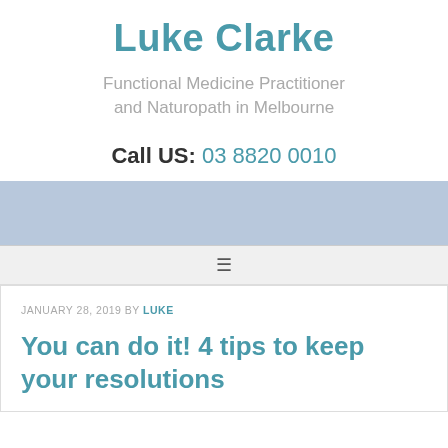Luke Clarke
Functional Medicine Practitioner and Naturopath in Melbourne
Call US: 03 8820 0010
JANUARY 28, 2019 BY LUKE
You can do it! 4 tips to keep your resolutions